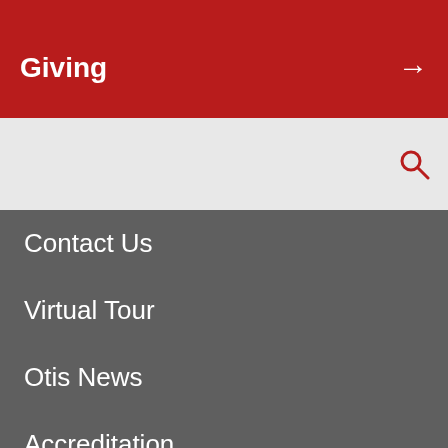Giving
Contact Us
Virtual Tour
Otis News
Accreditation
Accessibility
Hire from Otis